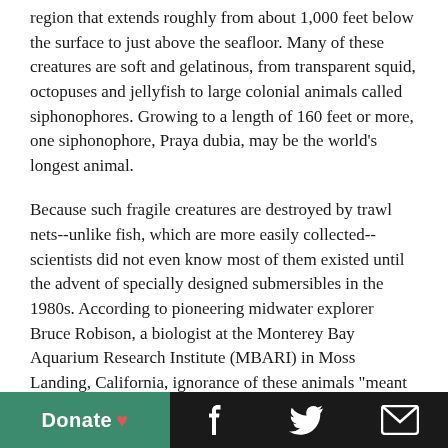region that extends roughly from about 1,000 feet below the surface to just above the seafloor. Many of these creatures are soft and gelatinous, from transparent squid, octopuses and jellyfish to large colonial animals called siphonophores. Growing to a length of 160 feet or more, one siphonophore, Praya dubia, may be the world's longest animal.
Because such fragile creatures are destroyed by trawl nets--unlike fish, which are more easily collected--scientists did not even know most of them existed until the advent of specially designed submersibles in the 1980s. According to pioneering midwater explorer Bruce Robison, a biologist at the Monterey Bay Aquarium Research Institute (MBARI) in Moss Landing, California, ignorance of these animals "meant that we probably underestimated the biomass of the sea by a third." The deep ocean's midwaters, he adds, "contain the largest animal communities on Earth." And within these communities, siphonophores rule, consuming so much food that they compete with big, hard-bodied carnivores such as sharks and whales. "It's the squishy, diaphanous fragile things that are knocking off the most prey," says Robison.
[Figure (other): Page footer with Donate button (green background), Facebook icon, Twitter icon, and email/envelope icon (black background)]